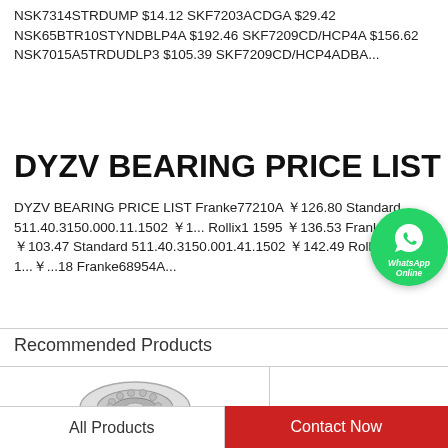NSK7314STRDUMP $14.12 SKF7203ACDGA $29.42 NSK65BTR10STYNDBLP4A $192.46 SKF7209CD/HCP4A $156.62 NSK7015A5TRDUDLP3 $105.39 SKF7209CD/HCP4ADBA...
DYZV BEARING PRICE LIST
DYZV BEARING PRICE LIST Franke77210A ￥126.80 Standard 511.40.3150.000.11.1502 ￥1... Rollix1 1595 ￥136.53 Franke74070A ￥103.47 Standard 511.40.3150.001.41.1502 ￥142.49 Rollix2 1... ￥...18 Franke68954A...
Recommended Products
[Figure (photo): Partial view of a bearing product image at the bottom left of the page]
All Products
Contact Now